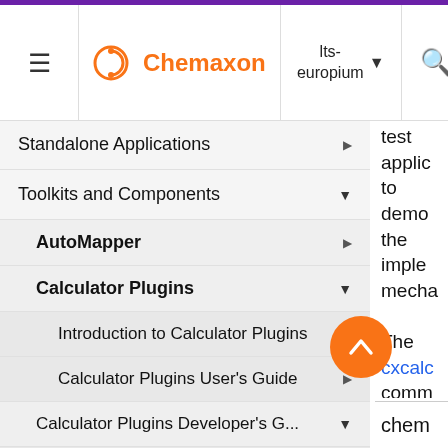Chemaxon | lts-europium
Standalone Applications
Toolkits and Components
AutoMapper
Calculator Plugins
Introduction to Calculator Plugins
Calculator Plugins User's Guide
Calculator Plugins Developer's G...
Calculator Plugins Web Servic...
Concurrent plugin API usage
test applic to demo the implem mecha The cxcalc comm line ol uses chem